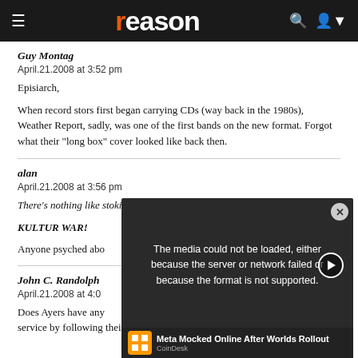reason
Guy Montag
April.21.2008 at 3:52 pm
Episiarch,
When record stors first began carrying CDs (way back in the 1980s), Weather Report, sadly, was one of the first bands on the new format. Forgot what their "long box" cover looked like back then.
alan
April.21.2008 at 3:56 pm
There's nothing like stoking the embers of a forty year old culture war
KULTUR WAR!
Anyone psyched abo
John C. Randolph
April.21.2008 at 4:0
Does Ayers have any service by following their father's urgings?
[Figure (screenshot): Video player overlay showing error message: 'The media could not be loaded, either because the server or network failed or because the format is not supported.' with a close button and play button.]
[Figure (screenshot): Ad bar at bottom: CoinDesk logo, text 'Meta Mocked Online After Worlds Rollout']